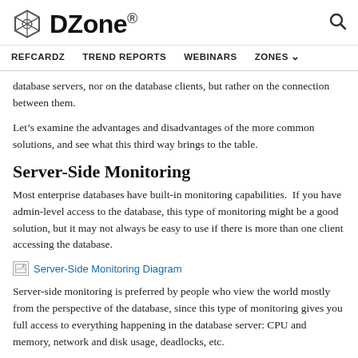DZone. REFCARDZ TREND REPORTS WEBINARS ZONES
database servers, nor on the database clients, but rather on the connection between them.
Let’s examine the advantages and disadvantages of the more common solutions, and see what this third way brings to the table.
Server-Side Monitoring
Most enterprise databases have built-in monitoring capabilities.  If you have admin-level access to the database, this type of monitoring might be a good solution, but it may not always be easy to use if there is more than one client accessing the database.
[Figure (illustration): Server-Side Monitoring Diagram placeholder image]
Server-side monitoring is preferred by people who view the world mostly from the perspective of the database, since this type of monitoring gives you full access to everything happening in the database server: CPU and memory, network and disk usage, deadlocks, etc.